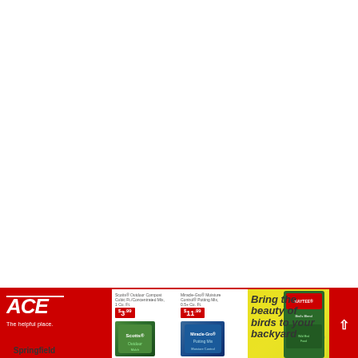[Figure (advertisement): ACE Hardware retail advertisement banner showing products including Scotts Outdoor Mulch ($3.99), Miracle-Gro Potting Mix ($11.99), bird seed ($10.99), with text 'Bring the beauty of birds to your backyard' and Springfield store location.]